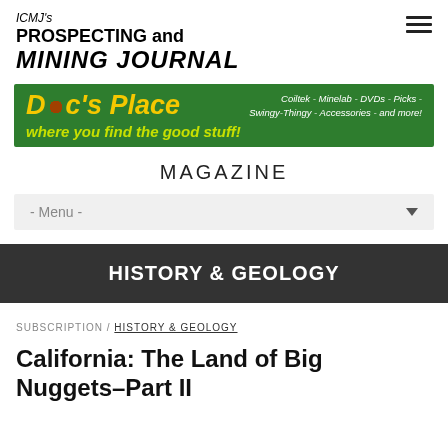ICMJ's PROSPECTING and MINING JOURNAL
[Figure (illustration): Doc's Place advertisement banner — green background with yellow bold italic text 'Doc's Place' and tagline 'where you find the good stuff!' with right-side text listing products: Coiltek - Minelab - DVDs - Picks - Swingy-Thingy - Accessories - and more!]
MAGAZINE
- Menu -
HISTORY & GEOLOGY
SUBSCRIPTION / HISTORY & GEOLOGY
California: The Land of Big Nuggets–Part II